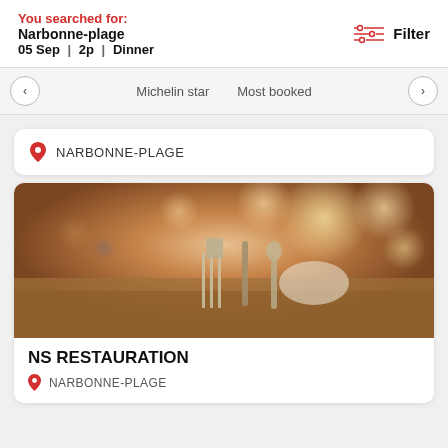You searched for: Narbonne-plage 05 Sep | 2p | Dinner
Filter
Michelin star   Most booked
NARBONNE-PLAGE
[Figure (photo): Blurred bokeh restaurant interior photo with fork and knife cutlery on wooden table in foreground]
NS RESTAURATION
NARBONNE-PLAGE